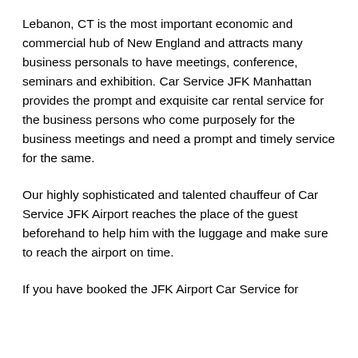Lebanon, CT is the most important economic and commercial hub of New England and attracts many business personals to have meetings, conference, seminars and exhibition. Car Service JFK Manhattan provides the prompt and exquisite car rental service for the business persons who come purposely for the business meetings and need a prompt and timely service for the same.
Our highly sophisticated and talented chauffeur of Car Service JFK Airport reaches the place of the guest beforehand to help him with the luggage and make sure to reach the airport on time.
If you have booked the JFK Airport Car Service for